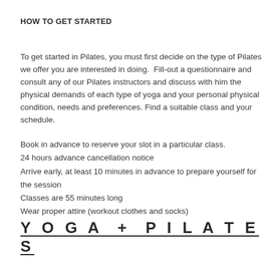HOW TO GET STARTED
To get started in Pilates, you must first decide on the type of Pilates we offer you are interested in doing.  Fill-out a questionnaire and consult any of our Pilates instructors and discuss with him the physical demands of each type of yoga and your personal physical condition, needs and preferences. Find a suitable class and your schedule.
Book in advance to reserve your slot in a particular class.
24 hours advance cancellation notice
Arrive early, at least 10 minutes in advance to prepare yourself for the session
Classes are 55 minutes long
Wear proper attire (workout clothes and socks)
YOGA + PILATES